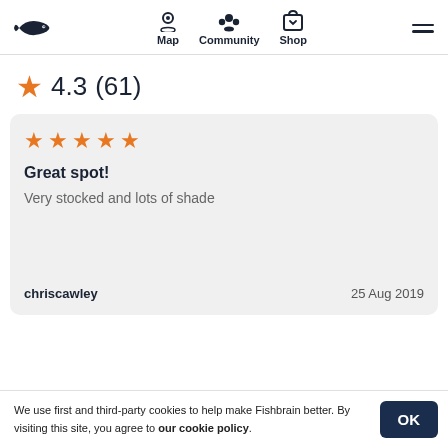Map  Community  Shop
4.3 (61)
Great spot!
Very stocked and lots of shade
chriscawley  25 Aug 2019
We use first and third-party cookies to help make Fishbrain better. By visiting this site, you agree to our cookie policy.